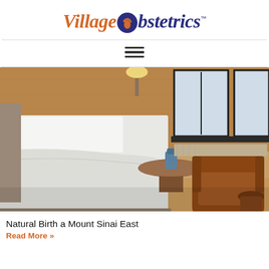[Figure (logo): Village Obstetrics logo with orange italic 'Village', blue circle with baby footprint replacing the 'O', blue italic 'bstetrics' and TM mark]
[Figure (photo): Hospital room with a bed covered in white linens, a round wooden side table with a blue object on top, a brown leather chair, and windows with gray sky outside. Warm wood-paneled walls.]
Natural Birth a Mount Sinai East
Read More »